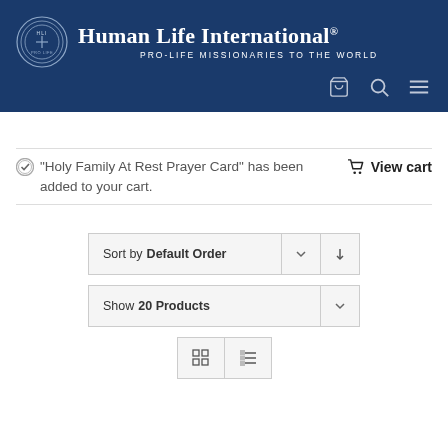[Figure (logo): Human Life International logo with circular emblem and text 'PRO-LIFE MISSIONARIES TO THE WORLD', dark navy blue header with cart, search, and menu icons]
“Holy Family At Rest Prayer Card” has been added to your cart.
View cart
Sort by Default Order
Show 20 Products